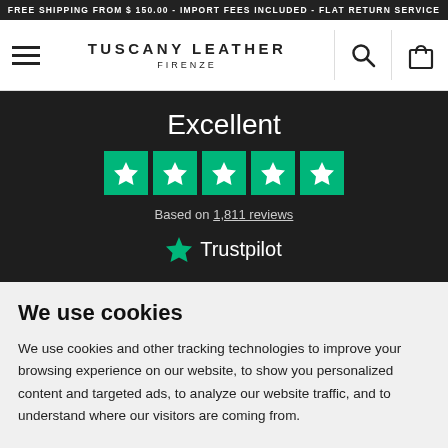FREE SHIPPING FROM $ 150.00 - IMPORT FEES INCLUDED - FLAT RETURN SERVICE
[Figure (logo): Tuscany Leather Firenze navigation bar with hamburger menu, brand name, search icon, and shopping bag icon]
[Figure (infographic): Trustpilot rating: Excellent, 5 green stars, Based on 1,811 reviews, Trustpilot logo on dark background]
We use cookies
We use cookies and other tracking technologies to improve your browsing experience on our website, to show you personalized content and targeted ads, to analyze our website traffic, and to understand where our visitors are coming from.